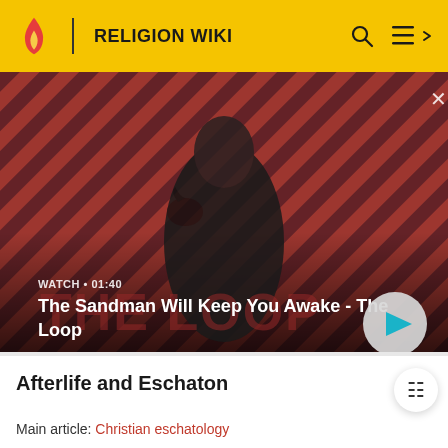RELIGION WIKI
[Figure (screenshot): Video thumbnail showing a dark-cloaked figure with a raven on shoulder against a red diagonal striped background. Text overlay: WATCH • 01:40 / The Sandman Will Keep You Awake - The Loop. Play button visible bottom right. Close X top right.]
WATCH • 01:40
The Sandman Will Keep You Awake - The Loop
Afterlife and Eschaton
Main article: Christian eschatology
Most Christians believe that human beings experience divine judgment and are rewarded either with eternal life